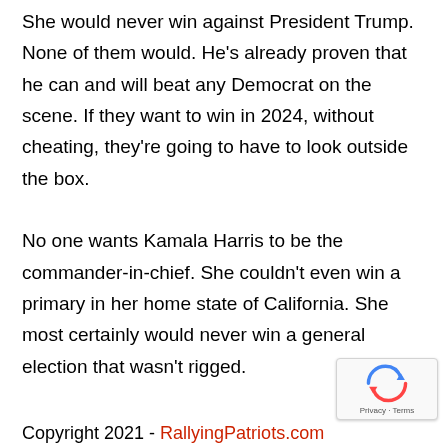She would never win against President Trump. None of them would. He's already proven that he can and will beat any Democrat on the scene. If they want to win in 2024, without cheating, they're going to have to look outside the box.

No one wants Kamala Harris to be the commander-in-chief. She couldn't even win a primary in her home state of California. She most certainly would never win a general election that wasn't rigged.
Copyright 2021 - RallyingPatriots.com